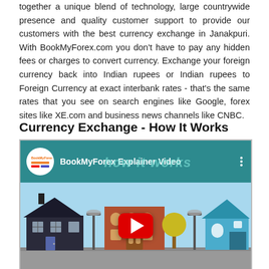together a unique blend of technology, large countrywide presence and quality customer support to provide our customers with the best currency exchange in Janakpuri. With BookMyForex.com you don't have to pay any hidden fees or charges to convert currency. Exchange your foreign currency back into Indian rupees or Indian rupees to Foreign Currency at exact interbank rates - that's the same rates that you see on search engines like Google, forex sites like XE.com and business news channels like CNBC.
Currency Exchange - How It Works
[Figure (screenshot): Embedded YouTube video player showing 'BookMyForex Explainer Video' with a teal header bar, BookMyForex logo circle, three-dot menu, 'how it works' watermark text, a red YouTube play button, and an illustrated town scene with houses and buildings below.]